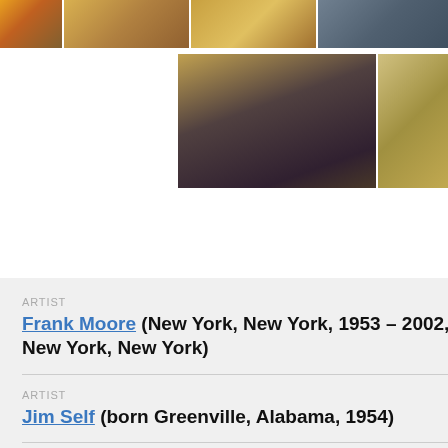[Figure (photo): Top row of four artwork/exhibition photographs with warm yellow-orange tones]
[Figure (photo): Middle row of two artwork/exhibition photographs, one dark silhouette and one colorful mosaic-like image]
ARTIST
Frank Moore (New York, New York, 1953 – 2002, New York, New York)
ARTIST
Jim Self (born Greenville, Alabama, 1954)
TITLE
Beehive